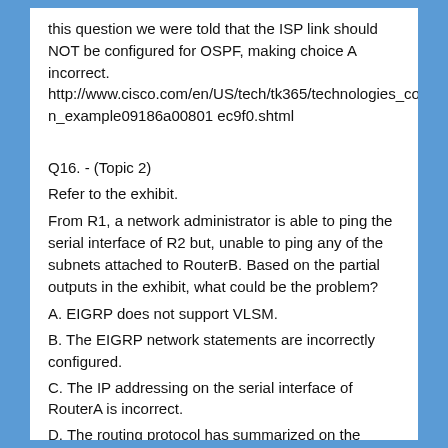this question we were told that the ISP link should NOT be configured for OSPF, making choice A incorrect. http://www.cisco.com/en/US/tech/tk365/technologies_configuration_example09186a00801 ec9f0.shtml
Q16. - (Topic 2)
Refer to the exhibit.
From R1, a network administrator is able to ping the serial interface of R2 but, unable to ping any of the subnets attached to RouterB. Based on the partial outputs in the exhibit, what could be the problem?
A. EIGRP does not support VLSM.
B. The EIGRP network statements are incorrectly configured.
C. The IP addressing on the serial interface of RouterA is incorrect.
D. The routing protocol has summarized on the classful boundary.
E. EIGRP has been configured with an invalid autonomous system number.
Answer: D
Explanation:
CCNA - EIGRP Common Question Reference: